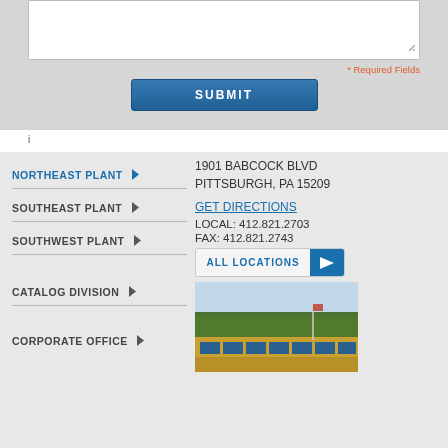[Figure (screenshot): Top portion showing a text area input with a resize handle in the bottom-right corner]
* Required Fields
SUBMIT
i
NORTHEAST PLANT
1901 BABCOCK BLVD
PITTSBURGH, PA 15209
GET DIRECTIONS
LOCAL: 412.821.2703
FAX: 412.821.2743
SOUTHEAST PLANT
SOUTHWEST PLANT
ALL LOCATIONS
CATALOG DIVISION
CORPORATE OFFICE
[Figure (photo): Photo of a building exterior with trees in background and a yellow facade with blue windows]